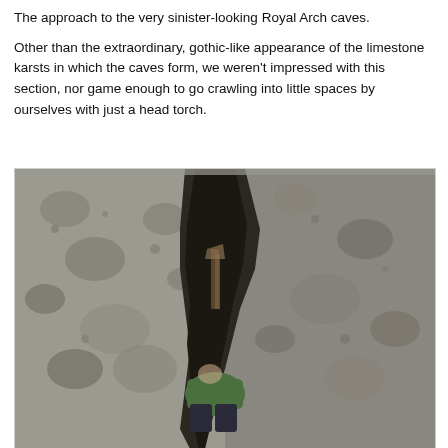The approach to the very sinister-looking Royal Arch caves.
Other than the extraordinary, gothic-like appearance of the limestone karsts in which the caves form, we weren't impressed with this section, nor game enough to go crawling into little spaces by ourselves with just a head torch.
[Figure (photo): A person in a green top and dark pants crouching/crawling through a narrow gap between rough grey limestone rock formations. The rocks have a textured, pitted karst surface. The crevice is dark and narrow, with the person partially visible at the bottom of the frame.]